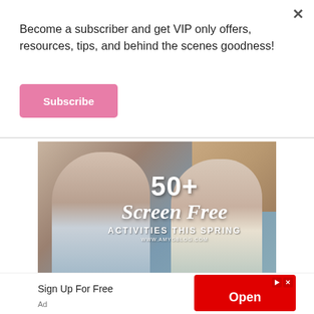Become a subscriber and get VIP only offers, resources, tips, and behind the scenes goodness!
Subscribe
[Figure (photo): Two young children sitting near a brick wall. Text overlay reads '50+ Screen Free ACTIVITIES THIS SPRING www.amygblog.com']
MOTHERHOOD
Sign Up For Free
Ad
Open